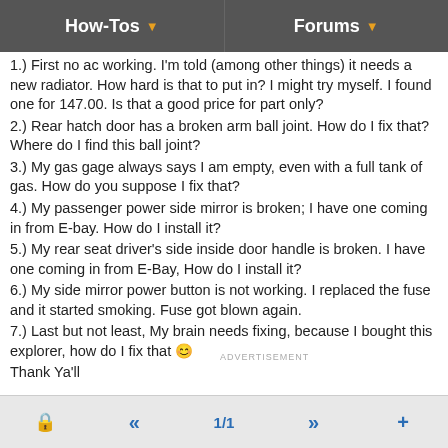How-Tos ▼    Forums ▼
1.) First no ac working. I'm told (among other things) it needs a new radiator. How hard is that to put in? I might try myself. I found one for 147.00. Is that a good price for part only?
2.) Rear hatch door has a broken arm ball joint. How do I fix that? Where do I find this ball joint?
3.) My gas gage always says I am empty, even with a full tank of gas. How do you suppose I fix that?
4.) My passenger power side mirror is broken; I have one coming in from E-bay. How do I install it?
5.) My rear seat driver's side inside door handle is broken. I have one coming in from E-Bay, How do I install it?
6.) My side mirror power button is not working. I replaced the fuse and it started smoking. Fuse got blown again.
7.) Last but not least, My brain needs fixing, because I bought this explorer, how do I fix that 😊
Thank Ya'll
🔒   «   1/1   »   +